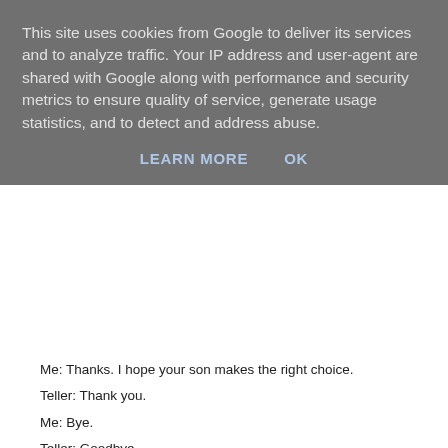This site uses cookies from Google to deliver its services and to analyze traffic. Your IP address and user-agent are shared with Google along with performance and security metrics to ensure quality of service, generate usage statistics, and to detect and address abuse.
LEARN MORE   OK
Me: Thanks. I hope your son makes the right choice.
Teller: Thank you.
Me: Bye.
Teller: Goodbye.
Me: Grayshsh. (under my breath.)
Posted by overyourhead at Thursday, February 02, 2012  No comment
Wednesday, February 01, 2012
The Artist...
Beware: there are some dodgy copies of The Artist doing the rounds. I go